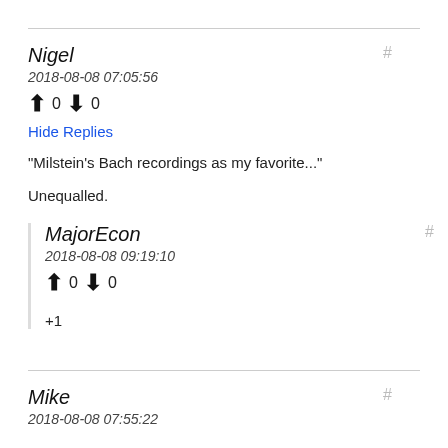Nigel
2018-08-08 07:05:56
↑ 0 ↓ 0
Hide Replies
"Milstein's Bach recordings as my favorite..."
Unequalled.
MajorEcon
2018-08-08 09:19:10
↑ 0 ↓ 0
+1
Mike
2018-08-08 07:55:22